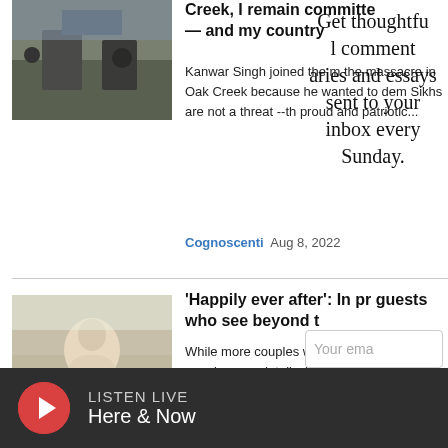[Figure (photo): Military or law enforcement personnel near vehicles, outdoor scene]
Creek, I remain committed — and my country
Kanwar Singh joined the m the massacre in Oak Creek because he wanted to dem Sikhs are not a threat -- th proud and patriotic...
Cognoscenti  Aug 8, 2022
[Figure (photo): Wedding celebration scene, couple embracing with guests in background]
'Happily ever after': In pr guests who see beyond t
While more couples will m than in any other year in re no detail will escape your special day, writes T.M. Bl except
Get thoughtful commentaries and essays sent to your inbox every Sunday.
Your ema
SIGN UP
LISTEN LIVE
Here & Now